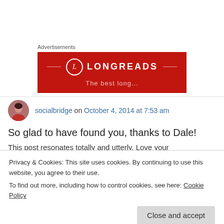[Figure (other): Longreads advertisement banner with red background, circular L logo and LONGREADS text in white]
socialbridge on October 4, 2014 at 7:53 am
So glad to have found you, thanks to Dale!
This post resonates totally and utterly. Love your
Privacy & Cookies: This site uses cookies. By continuing to use this website, you agree to their use.
To find out more, including how to control cookies, see here: Cookie Policy